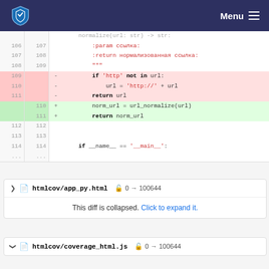Menu
[Figure (screenshot): Code diff showing normalize function changes: removed lines 109-111 with http check, added lines 110-111 with url_normalize call. Lines 106-114 shown with dual line numbers.]
htmlcov/app_py.html  0 → 100644
This diff is collapsed. Click to expand it.
htmlcov/coverage_html.js  0 → 100644